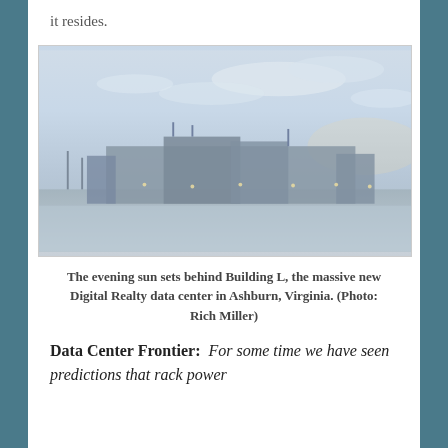it resides.
[Figure (photo): Evening photo of Building L, the Digital Realty data center in Ashburn, Virginia, with the sun setting behind it, silhouetting the large building against a cloudy sky.]
The evening sun sets behind Building L, the massive new Digital Realty data center in Ashburn, Virginia. (Photo: Rich Miller)
Data Center Frontier: For some time we have seen predictions that rack power